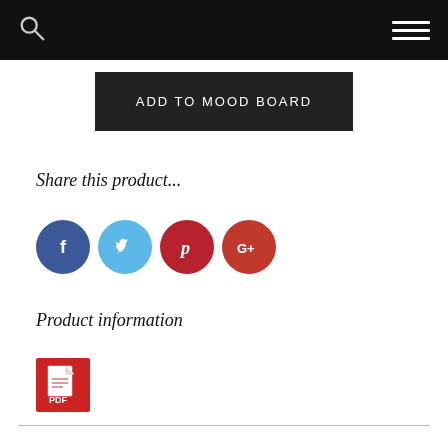ADD TO MOOD BOARD
Share this product...
[Figure (other): Social share icons: Facebook (blue circle with f), Twitter (light blue circle with bird), Pinterest (dark red circle with P), Google+ (red circle with G+)]
Product information
[Figure (other): PDF document icon — red square with white PDF/document symbol]